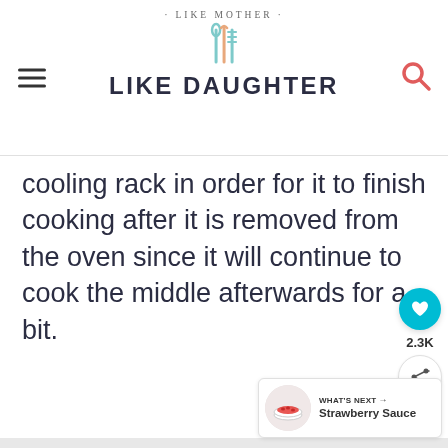· LIKE MOTHER · LIKE DAUGHTER
cooling rack in order for it to finish cooking after it is removed from the oven since it will continue to cook the middle afterwards for a bit.
[Figure (screenshot): Gray placeholder image area]
[Figure (infographic): Social sharing sidebar with heart button (2.3K) and share button]
[Figure (infographic): What's Next card showing Strawberry Sauce with a thumbnail of strawberries in a bowl]